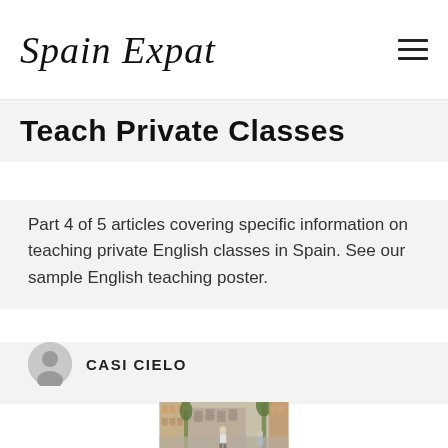Spain Expat
Teach Private Classes
Part 4 of 5 articles covering specific information on teaching private English classes in Spain. See our sample English teaching poster.
CASI CIELO
[Figure (photo): Street scene in Spain with people walking along a narrow urban street lined with buildings and trees]